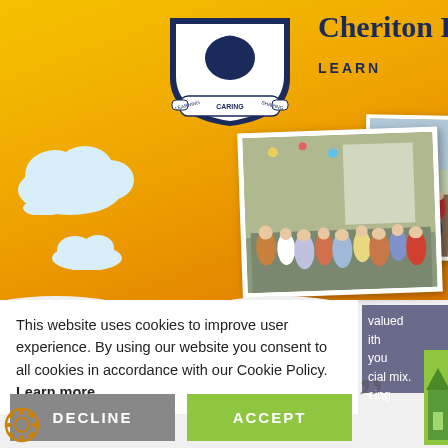[Figure (illustration): Yellow-orange gradient school website header with school crest/shield logo showing 'Learning, Sharing, Caring' motto, text 'Cheriton P' and 'LEARN' partially visible]
[Figure (photo): Class photo of children in costumes, possibly a nativity play, indoors]
[Figure (photo): School group photo outdoors near trees, children in blue uniforms]
This website uses cookies to improve user experience. By using our website you consent to all cookies in accordance with our Cookie Policy. Learn more
DECLINE
ACCEPT
valued
ith
you
cial mix.
eing